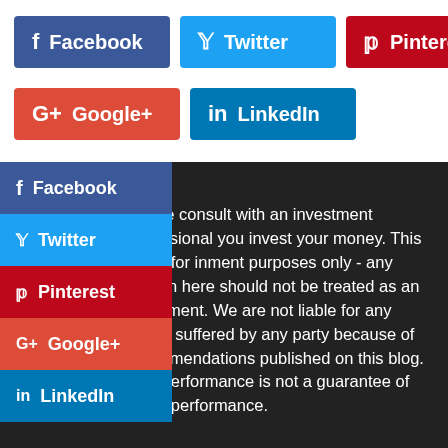[Figure (screenshot): Row of social share buttons: Facebook (blue), Twitter (cyan), Pinterest (red)]
[Figure (screenshot): Second row of social share buttons: Google+ (red), LinkedIn (blue)]
[Figure (screenshot): Floating vertical social share sidebar: Facebook, Twitter, Pinterest, Google+, LinkedIn]
sure
Please consult with an investment professional you invest your money. This site is for inment purposes only - any opinion here should not be treated as an investment. We are not liable for any losses suffered by any party because of recommendations published on this blog. Past performance is not a guarantee of future performance.